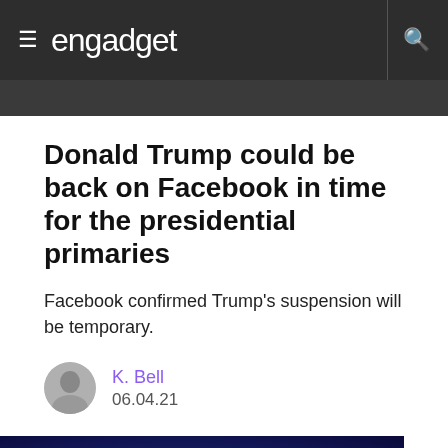engadget
Donald Trump could be back on Facebook in time for the presidential primaries
Facebook confirmed Trump's suspension will be temporary.
K. Bell
06.04.21
[Figure (photo): Dark blue background with a glowing reddish-orange jellyfish or similar subject partially visible at the bottom of the frame]